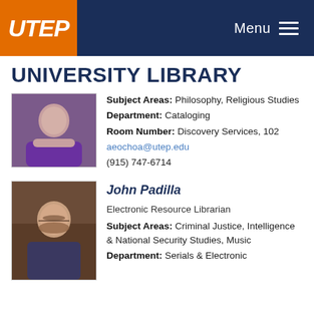UTEP — Menu
UNIVERSITY LIBRARY
Subject Areas: Philosophy, Religious Studies
Department: Cataloging
Room Number: Discovery Services, 102
aeochoa@utep.edu
(915) 747-6714
[Figure (photo): Photo of a person wearing a purple shirt, partially cropped at top]
John Padilla
Electronic Resource Librarian
Subject Areas: Criminal Justice, Intelligence & National Security Studies, Music
Department: Serials & Electronic
[Figure (photo): Photo of John Padilla, a man with glasses and a beard, smiling, wearing a blue striped shirt]